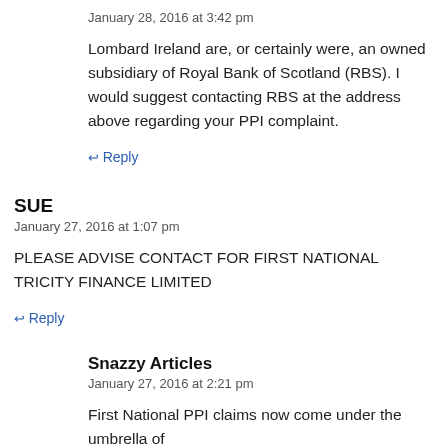January 28, 2016 at 3:42 pm
Lombard Ireland are, or certainly were, an owned subsidiary of Royal Bank of Scotland (RBS). I would suggest contacting RBS at the address above regarding your PPI complaint.
↩ Reply
SUE
January 27, 2016 at 1:07 pm
PLEASE ADVISE CONTACT FOR FIRST NATIONAL TRICITY FINANCE LIMITED
↩ Reply
Snazzy Articles
January 27, 2016 at 2:21 pm
First National PPI claims now come under the umbrella of